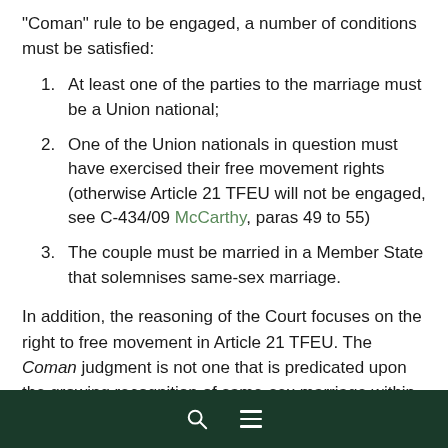“Coman” rule to be engaged, a number of conditions must be satisfied:
At least one of the parties to the marriage must be a Union national;
One of the Union nationals in question must have exercised their free movement rights (otherwise Article 21 TFEU will not be engaged, see C-434/09 McCarthy, paras 49 to 55)
The couple must be married in a Member State that solemnises same-sex marriage.
In addition, the reasoning of the Court focuses on the right to free movement in Article 21 TFEU. The Coman judgment is not one that is predicated upon the growing recognition of same-sex marriage within the EU (on this, see my third comment, and para 56 to 58 of the Opinion) or, indeed, on fundamental rights